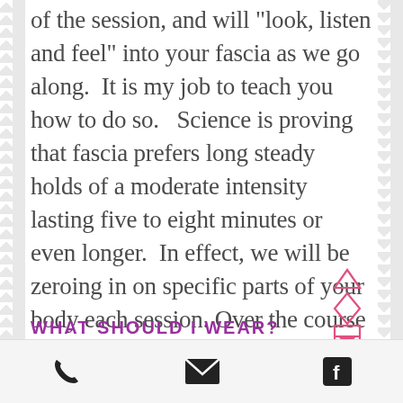...ading your body at the top of the session, and will "look, listen and feel" into your fascia as we go along.  It is my job to teach you how to do so.   Science is proving that fascia prefers long steady holds of a moderate intensity lasting five to eight minutes or even longer.  In effect, we will be zeroing in on specific parts of your body each session. Over the course of several treatments,  our aim is to treat your entire body.  (unless otherwise instructed by your fascia!)
WHAT SHOULD I WEAR?
phone | email | facebook